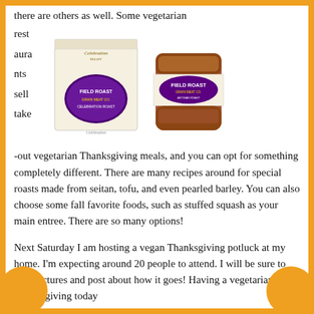there are others as well. Some vegetarian restaurants sell take-out vegetarian Thanksgiving meals, and you can opt for something completely different. There are many recipes around for special roasts made from seitan, tofu, and even pearled barley. You can also choose some fall favorite foods, such as stuffed squash as your main entree. There are so many options!
[Figure (photo): Two Field Roast product photos: a boxed Stuffed Celebration Roast on the left and a sliced Field Roast loaf on the right]
Next Saturday I am hosting a vegan Thanksgiving potluck at my home. I'm expecting around 20 people to attend. I will be sure to take pictures and post about how it goes! Having a vegetarian Thanksgiving today